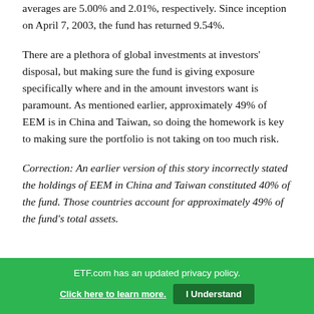averages are 5.00% and 2.01%, respectively. Since inception on April 7, 2003, the fund has returned 9.54%.
There are a plethora of global investments at investors' disposal, but making sure the fund is giving exposure specifically where and in the amount investors want is paramount. As mentioned earlier, approximately 49% of EEM is in China and Taiwan, so doing the homework is key to making sure the portfolio is not taking on too much risk.
Correction: An earlier version of this story incorrectly stated the holdings of EEM in China and Taiwan constituted 40% of the fund. Those countries account for approximately 49% of the fund's total assets.
ETF.com has an updated privacy policy. Click here to learn more. I Understand